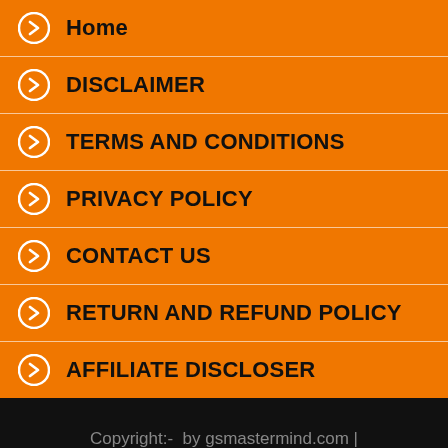Home
DISCLAIMER
TERMS AND CONDITIONS
PRIVACY POLICY
CONTACT US
RETURN AND REFUND POLICY
AFFILIATE DISCLOSER
Copyright:-  by gsmastermind.com | Studyedutok and Created by gurpal singh